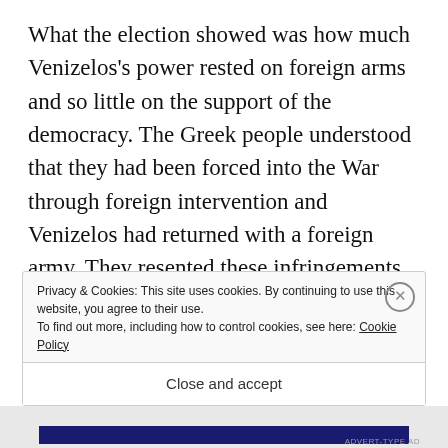What the election showed was how much Venizelos's power rested on foreign arms and so little on the support of the democracy. The Greek people understood that they had been forced into the War through foreign intervention and Venizelos had returned with a foreign army. They resented these infringements on their independence and wanted to reassert their independence and sovereignty. The result was a massive defeat for the Greek Premier as a huge majority voted for the
Privacy & Cookies: This site uses cookies. By continuing to use this website, you agree to their use.
To find out more, including how to control cookies, see here: Cookie Policy
Close and accept